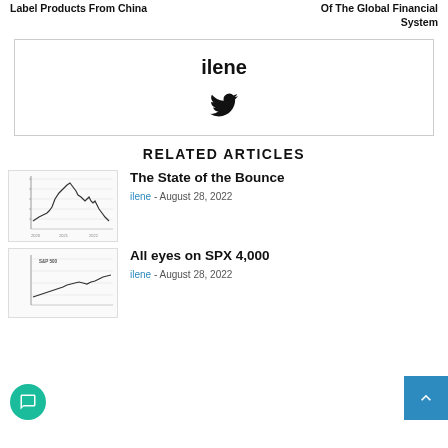Label Products From China | Of The Global Financial System
[Figure (other): Author profile box with name 'ilene' and Twitter bird icon]
RELATED ARTICLES
[Figure (line-chart): Line chart thumbnail for 'The State of the Bounce' article showing a market bounce pattern]
The State of the Bounce
ilene - August 28, 2022
[Figure (line-chart): Line chart thumbnail for 'All eyes on SPX 4,000' article showing SPX line chart]
All eyes on SPX 4,000
ilene - August 28, 2022